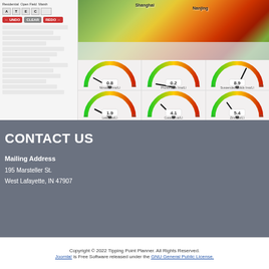[Figure (screenshot): Web application screenshot showing land use interface with UNDO/CLEAR/REDO buttons, a satellite/thermal map of a region, and six gauge meters for water quality parameters: Nitrogen (0.8 mg/L), Phosphorus (0.2 mg/L), Suspended Solids (8.9 mg/L), Lead (1.9 ug/L), Copper (4.1 ug/L), Zinc (5.4 ug/L)]
CONTACT US
Mailing Address
195 Marsteller St.
West Lafayette, IN 47907
Copyright © 2022 Tipping Point Planner. All Rights Reserved. Joomla! is Free Software released under the GNU General Public License.